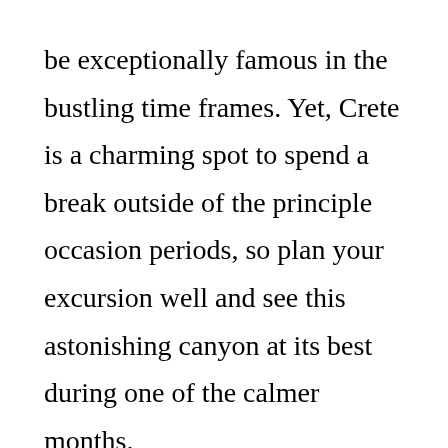be exceptionally famous in the bustling time frames. Yet, Crete is a charming spot to spend a break outside of the principle occasion periods, so plan your excursion well and see this astonishing canyon at its best during one of the calmer months.
One more astonishing part of Crete is its mountain region, with its highpoint being Mt Psiloritis at north of 8000 feet in height. Not certain how high that is? Well in Britain the